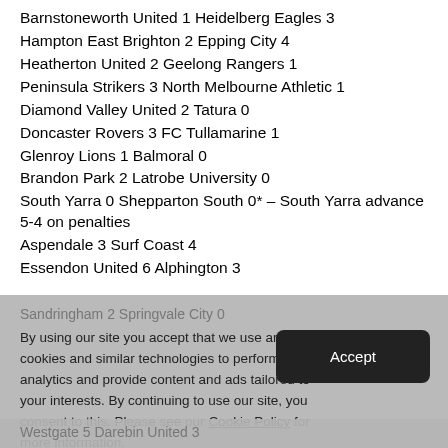Barnstoneworth United 1 Heidelberg Eagles 3
Hampton East Brighton 2 Epping City 4
Heatherton United 2 Geelong Rangers 1
Peninsula Strikers 3 North Melbourne Athletic 1
Diamond Valley United 2 Tatura 0
Doncaster Rovers 3 FC Tullamarine 1
Glenroy Lions 1 Balmoral 0
Brandon Park 2 Latrobe University 0
South Yarra 0 Shepparton South 0* – South Yarra advance 5-4 on penalties
Aspendale 3 Surf Coast 4
Essendon United 6 Alphington 3
Sandringham 2 Springvale City 0
By using our site you accept that we use and share cookies and similar technologies to perform analytics and provide content and ads tailored to your interests. By continuing to use our site, you consent to this. Please see our Cookie Policy for more information.
Westgate 5 Darebin United 3